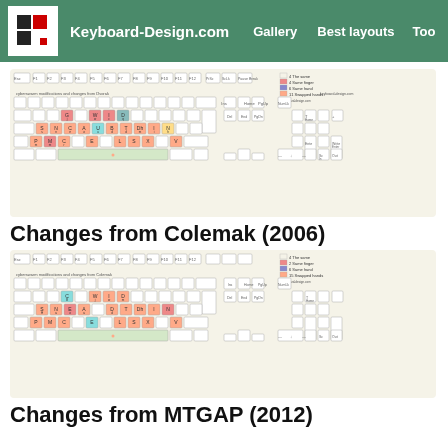Keyboard-Design.com  Gallery  Best layouts  Too
[Figure (screenshot): Keyboard layout diagram showing changes from Dvorak, with colored keys indicating same finger, same hand, and swapped hands categories. Legend shows 4 The same, 4 Same finger, 6 Same hand, 11 Swapped hands. keyboard-design.com]
Changes from Colemak (2006)
[Figure (screenshot): Keyboard layout diagram showing changes from Colemak, with colored keys indicating same finger, same hand, and swapped hands categories. Legend shows 4 The same, 2 Same finger, 6 Same hand, 15 Swapped hands. keyboard-design.com]
Changes from MTGAP (2012)